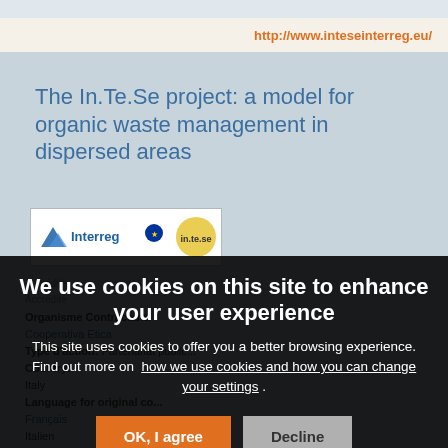http://www.inteseinterreg.eu/
The In.Te.Se project: a model for organic waste management in dispersed areas
[Figure (logo): Interreg EU logo and In.Te.Se project logo]
Organisme Contractant:
Cooperativa Etica
Type d'action: Partenariat public
Country: Italy
Language for original co...
Français
Italien
Key Area: Gestion des déchets
Secteur:
We use cookies on this site to enhance your user experience
This site uses cookies to offer you a better browsing experience. Find out more on how we use cookies and how you can change your settings .
OK, I agree
Decline